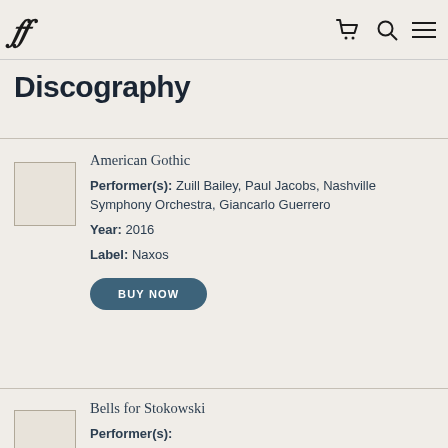ff (logo)
Discography
American Gothic
Performer(s): Zuill Bailey, Paul Jacobs, Nashville Symphony Orchestra, Giancarlo Guerrero
Year: 2016
Label: Naxos
BUY NOW
Bells for Stokowski
Performer(s):
Year: 2016
Label: GIA